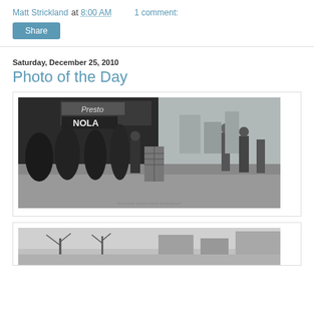Matt Strickland at 8:00 AM    1 comment:
Share
Saturday, December 25, 2010
Photo of the Day
[Figure (photo): Black and white historical photograph of a street scene, likely early 20th century, showing people on a sidewalk with storefronts including a 'Presto' sign and 'NOLA' sign. A person stands near a small brick structure on the sidewalk.]
[Figure (photo): Partial black and white historical photograph visible at the bottom of the page, showing bare trees and buildings.]